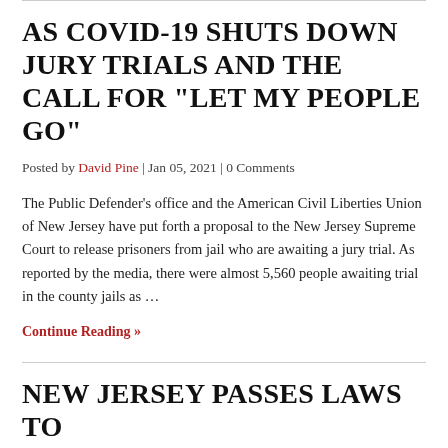AS COVID-19 SHUTS DOWN JURY TRIALS AND THE CALL FOR "LET MY PEOPLE GO"
Posted by David Pine | Jan 05, 2021 | 0 Comments
The Public Defender’s office and the American Civil Liberties Union of New Jersey have put forth a proposal to the New Jersey Supreme Court to release prisoners from jail who are awaiting a jury trial. As reported by the media, there were almost 5,560 people awaiting trial in the county jails as …
Continue Reading »
NEW JERSEY PASSES LAWS TO